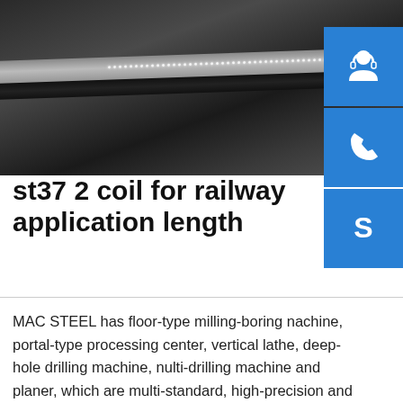[Figure (photo): Close-up photo of dark metal rail or steel surface with LED/dot light strip, showing metallic sheen and industrial texture.]
st37 2 coil for railway application length
MAC STEEL has floor-type milling-boring nachine, portal-type processing center, vertical lathe, deep-hole drilling machine, nulti-drilling machine and planer, which are multi-standard, high-precision and multi-function. MAC STEEL has a wealth of machining experience and cases, such as the processing of tube sheets, food